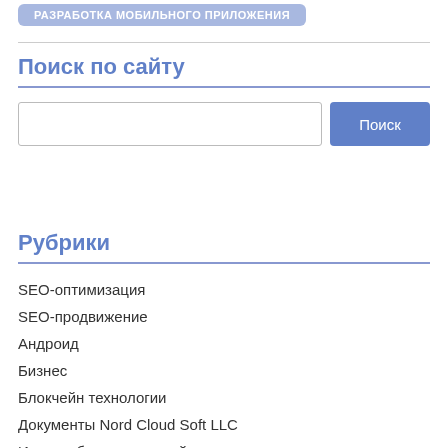РАЗРАБОТКА МОБИЛЬНОГО ПРИЛОЖЕНИЯ
Поиск по сайту
[Figure (screenshot): Search input field with Поиск button]
Рубрики
SEO-оптимизация
SEO-продвижение
Андроид
Бизнес
Блокчейн технологии
Документы Nord Cloud Soft LLC
Игры мобильных устройств